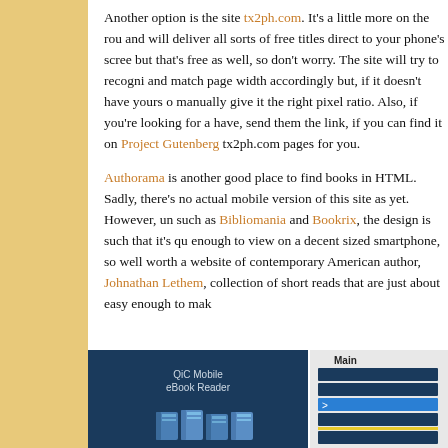Another option is the site tx2ph.com. It's a little more on the rough side and will deliver all sorts of free titles direct to your phone's screen, but that's free as well, so don't worry. The site will try to recognise and match page width accordingly but, if it doesn't have yours on file, manually give it the right pixel ratio. Also, if you're looking for a book it doesn't have, send them the link, if you can find it on Project Gutenberg, and it'll create tx2ph.com pages for you.
Authorama is another good place to find books in HTML. Sadly, there's no actual mobile version of this site as yet. However, unlike sites such as Bibliomania and Bookrix, the design is such that it's quite easy enough to view on a decent sized smartphone, so well worth a visit. The website of contemporary American author, Johnathan Lethem, which has a collection of short reads that are just about easy enough to make out.
[Figure (screenshot): Screenshot showing QiC Mobile eBook Reader app interface with dark navy background and book icons, and a partial second panel showing a menu labelled 'Main' with dark blue button rows and a highlighted blue row with '>' arrow.]